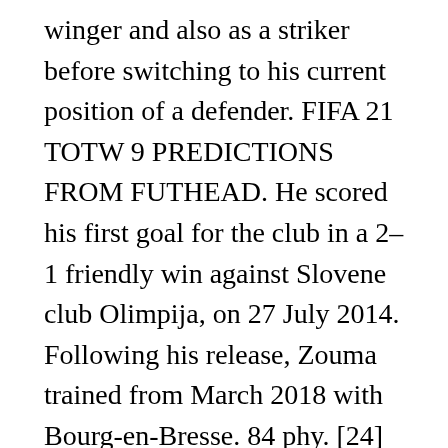winger and also as a striker before switching to his current position of a defender. FIFA 21 TOTW 9 PREDICTIONS FROM FUTHEAD. He scored his first goal for the club in a 2–1 friendly win against Slovene club Olimpija, on 27 July 2014. Following his release, Zouma trained from March 2018 with Bourg-en-Bresse. 84 phy. [24] On 24 November, as a late substitute for the injured Terry, he scored his first European goal to conclude a 4–0 win at Maccabi Tel Aviv in the Champions League group stage. PLAYERS TEAMS NATIONS CAREER Login. Stoper, Sözleşme bitiş tarihi:: DEFENDERS. Player stats of Kurt Zouma (FC Chelsea) Goals Assists Matches played All